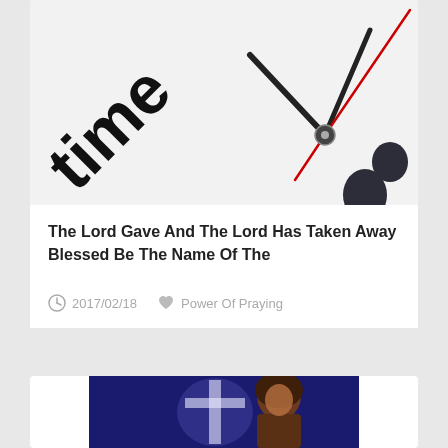[Figure (photo): Close-up of a minimalist clock face showing the word 'time' with clock hands including a red second hand against a white background]
The Lord Gave And The Lord Has Taken Away Blessed Be The Name Of The
2017/02/18   Power Of Praying
[Figure (illustration): Digital illustration of a woman in profile against a dark blue background with a glowing cross]